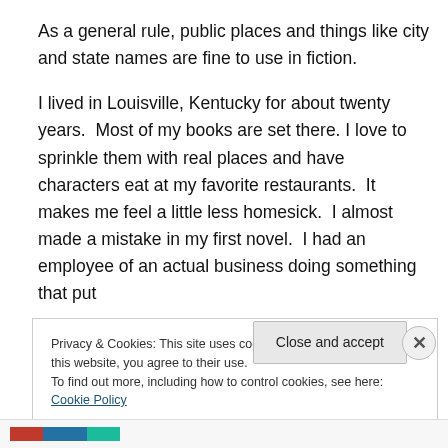As a general rule, public places and things like city and state names are fine to use in fiction.
I lived in Louisville, Kentucky for about twenty years.  Most of my books are set there. I love to sprinkle them with real places and have characters eat at my favorite restaurants.  It makes me feel a little less homesick.  I almost made a mistake in my first novel.  I had an employee of an actual business doing something that put
Privacy & Cookies: This site uses cookies. By continuing to use this website, you agree to their use.
To find out more, including how to control cookies, see here: Cookie Policy
Close and accept